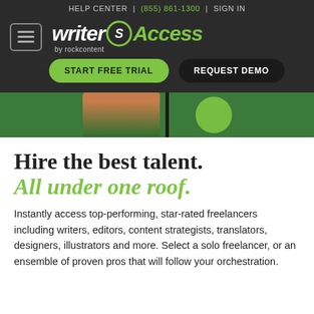HELP CENTER | (855) 861-1300 | SIGN IN
[Figure (logo): WriterAccess by rockcontent logo with hamburger menu icon and green/white branding]
[Figure (photo): Partial hero image of a person in green with decorative green circle element]
Hire the best talent. All under one roof.
Instantly access top-performing, star-rated freelancers including writers, editors, content strategists, translators, designers, illustrators and more. Select a solo freelancer, or an ensemble of proven pros that will follow your orchestration.